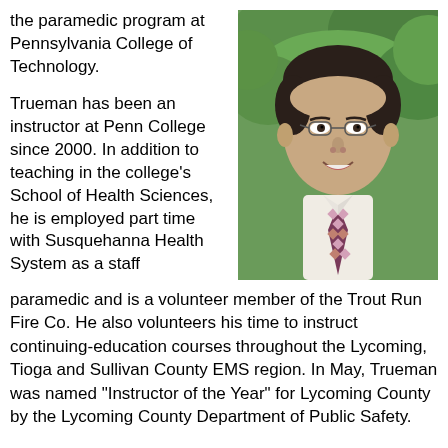the paramedic program at Pennsylvania College of Technology.
[Figure (photo): Headshot of a man with glasses wearing a white dress shirt and a checkered/diamond-pattern maroon and white tie, smiling, with green foliage in the background.]
Trueman has been an instructor at Penn College since 2000. In addition to teaching in the college's School of Health Sciences, he is employed part time with Susquehanna Health System as a staff paramedic and is a volunteer member of the Trout Run Fire Co. He also volunteers his time to instruct continuing-education courses throughout the Lycoming, Tioga and Sullivan County EMS region. In May, Trueman was named "Instructor of the Year" for Lycoming County by the Lycoming County Department of Public Safety.